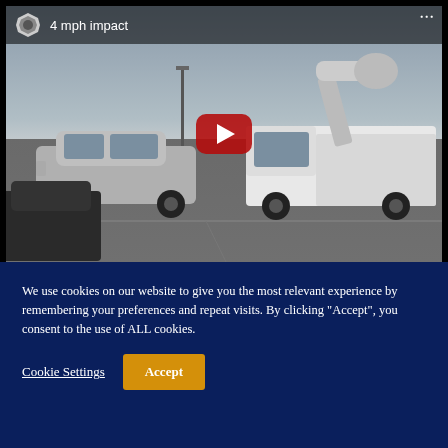[Figure (screenshot): YouTube video thumbnail showing '4 mph impact' — a parking lot scene with a silver sedan and a white utility truck with a crane/boom arm. Dark overcast sky. YouTube play button overlay in center. YouTube logo and video title in top-left corner.]
We use cookies on our website to give you the most relevant experience by remembering your preferences and repeat visits. By clicking "Accept", you consent to the use of ALL cookies.
Cookie Settings
Accept